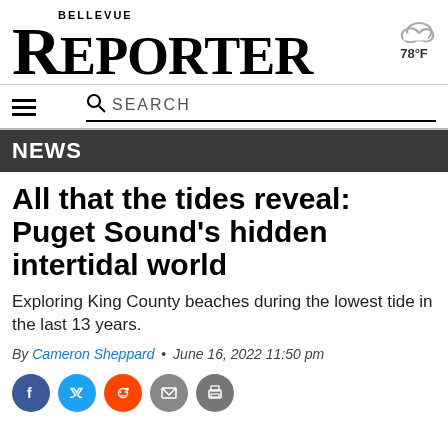BELLEVUE REPORTER
78°F
SEARCH
NEWS
All that the tides reveal: Puget Sound’s hidden intertidal world
Exploring King County beaches during the lowest tide in the last 13 years.
By Cameron Sheppard • June 16, 2022 11:50 pm